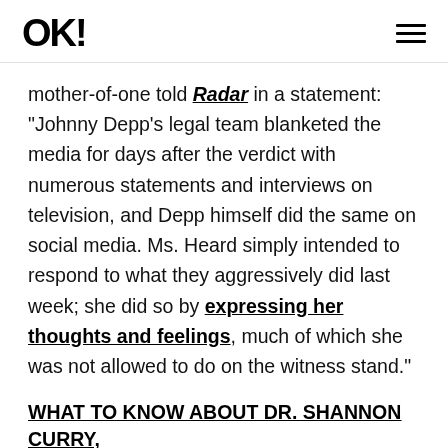OK!
mother-of-one told Radar in a statement: "Johnny Depp's legal team blanketed the media for days after the verdict with numerous statements and interviews on television, and Depp himself did the same on social media. Ms. Heard simply intended to respond to what they aggressively did last week; she did so by expressing her thoughts and feelings, much of which she was not allowed to do on the witness stand."
WHAT TO KNOW ABOUT DR. SHANNON CURRY, THE PSYCHOLOGIST WHO SEEMED TO BE